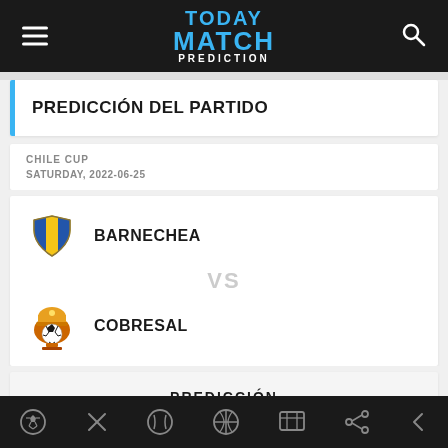TODAY MATCH PREDICTION
PREDICCIÓN DEL PARTIDO
CHILE CUP
SATURDAY, 2022-06-25
BARNECHEA
VS
COBRESAL
PREDICCIÓN
Navigation icons: soccer, scissors/close, baseball, basketball, scoreboard, share, back